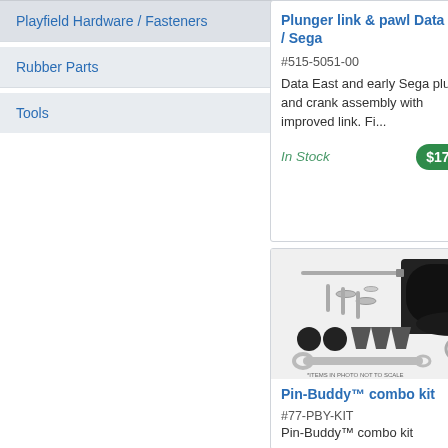Playfield Hardware / Fasteners
Rubber Parts
Tools
Plunger link & pawl Data East / Sega
#515-5051-00
Data East and early Sega plunger and crank assembly with improved link. Fi...
In Stock
$17.99
[Figure (photo): Pin-Buddy combo kit product photo showing plunger assembly parts, washers, black rubber feet, wedge shaped parts, a wrench, and a black cup/bracket holder. Text reads *ITEMS IN PHOTO NOT TO SCALE*]
Pin-Buddy™ combo kit
#77-PBY-KIT
Pin-Buddy™ combo kit
Co...
#5...
Da... br...
In
Po... co...
#1...
Pi...